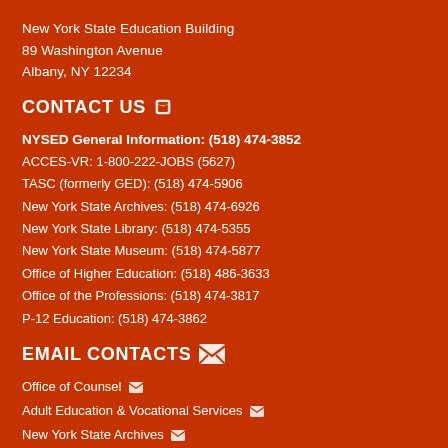New York State Education Building
89 Washington Avenue
Albany, NY 12234
CONTACT US
NYSED General Information: (518) 474-3852
ACCES-VR: 1-800-222-JOBS (5627)
TASC (formerly GED): (518) 474-5906
New York State Archives: (518) 474-6926
New York State Library: (518) 474-5355
New York State Museum: (518) 474-5877
Office of Higher Education: (518) 486-3633
Office of the Professions: (518) 474-3817
P-12 Education: (518) 474-3862
EMAIL CONTACTS
Office of Counsel
Adult Education & Vocational Services
New York State Archives
New York State Library
New York State Museum